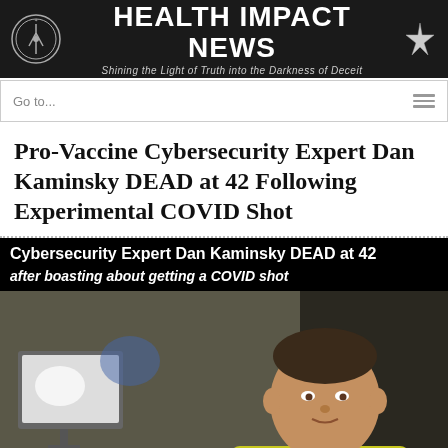HEALTH IMPACT NEWS — Shining the Light of Truth into the Darkness of Deceit
Go to...
Pro-Vaccine Cybersecurity Expert Dan Kaminsky DEAD at 42 Following Experimental COVID Shot
[Figure (photo): Image with black banner text: 'Cybersecurity Expert Dan Kaminsky DEAD at 42 after boasting about getting a COVID shot'. Below is a photo of a man in a yellow shirt in front of computer monitors.]